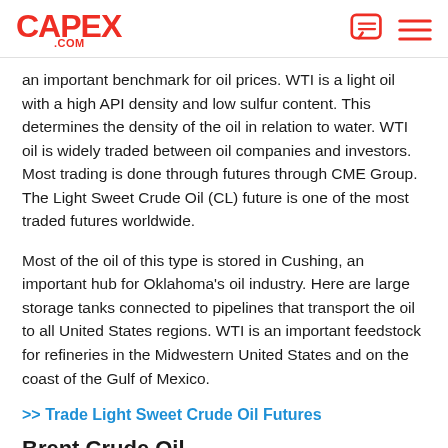CAPEX .COM
an important benchmark for oil prices. WTI is a light oil with a high API density and low sulfur content. This determines the density of the oil in relation to water. WTI oil is widely traded between oil companies and investors. Most trading is done through futures through CME Group. The Light Sweet Crude Oil (CL) future is one of the most traded futures worldwide.
Most of the oil of this type is stored in Cushing, an important hub for Oklahoma's oil industry. Here are large storage tanks connected to pipelines that transport the oil to all United States regions. WTI is an important feedstock for refineries in the Midwestern United States and on the coast of the Gulf of Mexico.
>> Trade Light Sweet Crude Oil Futures
Brent Crude Oil